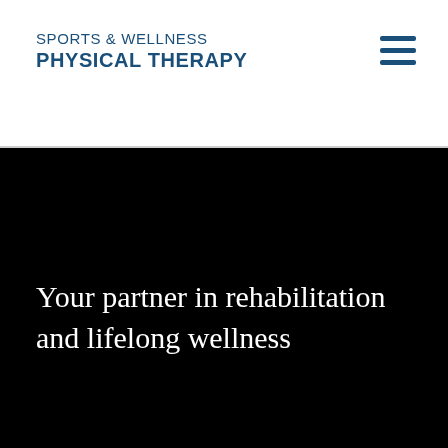SPORTS & WELLNESS PHYSICAL THERAPY
Your partner in rehabilitation and lifelong wellness